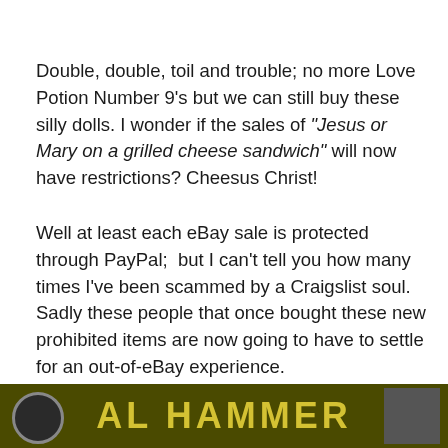Double, double, toil and trouble; no more Love Potion Number 9's but we can still buy these silly dolls. I wonder if the sales of “Jesus or Mary on a grilled cheese sandwich” will now have restrictions? Cheesus Christ!
Well at least each eBay sale is protected through PayPal; but I can’t tell you how many times I’ve been scammed by a Craigslist soul. Sadly these people that once bought these new prohibited items are now going to have to settle for an out-of-eBay experience.
[Figure (photo): Bottom banner image with dark olive/yellow background showing partial text that appears to be a logo or banner, with circular graphic on left and a figure/person on the right.]